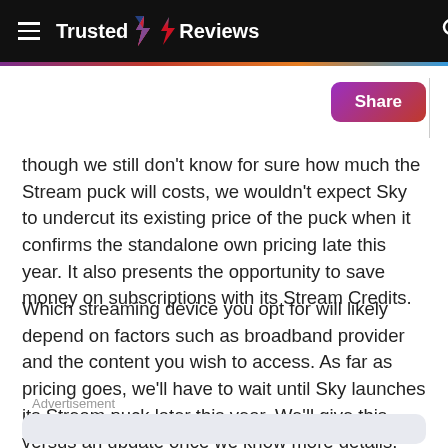Trusted Reviews
though we still don't know for sure how much the Stream puck will costs, we wouldn't expect Sky to undercut its existing price of the puck when it confirms the standalone own pricing late this year. It also presents the opportunity to save money on subscriptions with its Stream Credits.
Which streaming device you opt for will likely depend on factors such as broadband provider and the content you wish to access. As far as pricing goes, we'll have to wait until Sky launches its Stream puck later this year. We'll give this versus an update once we know more details.
Advertisement